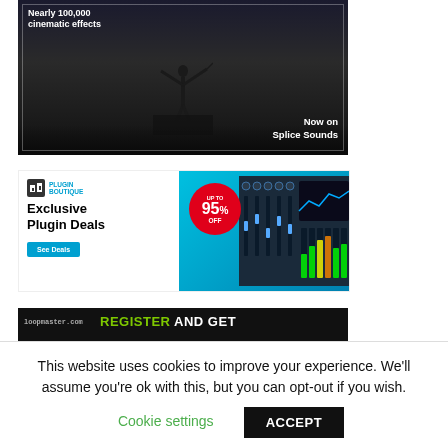[Figure (illustration): Dark cinematic advertisement banner showing a silhouetted conductor figure with text 'Nearly 100,000 cinematic effects' and 'Now on Splice Sounds']
[Figure (illustration): Plugin Boutique advertisement showing logo, 'Exclusive Plugin Deals' headline, 'UP TO 95% OFF' red badge, and mixing console imagery with 'See Deals' button]
[Figure (illustration): Partial loopmaster advertisement banner showing 'REGISTER AND GET' text in green and white]
This website uses cookies to improve your experience. We'll assume you're ok with this, but you can opt-out if you wish.
Cookie settings
ACCEPT